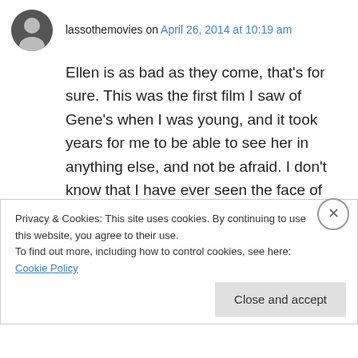lassothemovies on April 26, 2014 at 10:19 am
Ellen is as bad as they come, that's for sure. This was the first film I saw of Gene's when I was young, and it took years for me to be able to see her in anything else, and not be afraid. I don't know that I have ever seen the face of the devil look so calm and natural as with Tierney is this movie. It is an amazing performance. A brilliant and inspired choice for this great blogathon.
Privacy & Cookies: This site uses cookies. By continuing to use this website, you agree to their use.
To find out more, including how to control cookies, see here: Cookie Policy